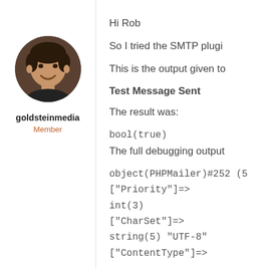[Figure (photo): Circular avatar photo of a smiling man]
goldsteinmedia
Member
Hi Rob
So I tried the SMTP plugi
This is the output given to
Test Message Sent
The result was:
bool(true)
The full debugging output
object(PHPMailer)#252 (5
["Priority"]=>
int(3)
["CharSet"]=>
string(5) "UTF-8"
["ContentType"]=>